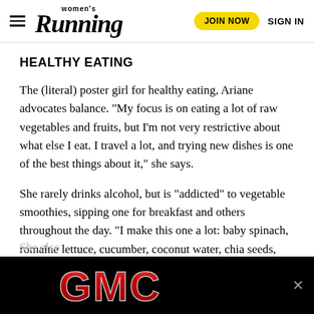Women's Running | JOIN NOW | SIGN IN
HEALTHY EATING
The (literal) poster girl for healthy eating, Ariane advocates balance. “My focus is on eating a lot of raw vegetables and fruits, but I’m not very restrictive about what else I eat. I travel a lot, and trying new dishes is one of the best things about it,” she says.
She rarely drinks alcohol, but is “addicted” to vegetable smoothies, sipping one for breakfast and others throughout the day. “I make this one a lot: baby spinach, romaine lettuce, cucumber, coconut water, chia seeds, ginger and mint,” she says.
[Figure (other): GMC advertisement banner with red and silver GMC logo text on black background]
She also